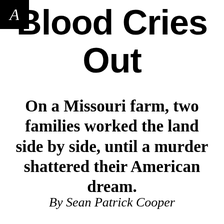[Figure (logo): Black square with italic white letter A — publication logo]
Blood Cries Out
On a Missouri farm, two families worked the land side by side, until a murder shattered their American dream.
By Sean Patrick Cooper